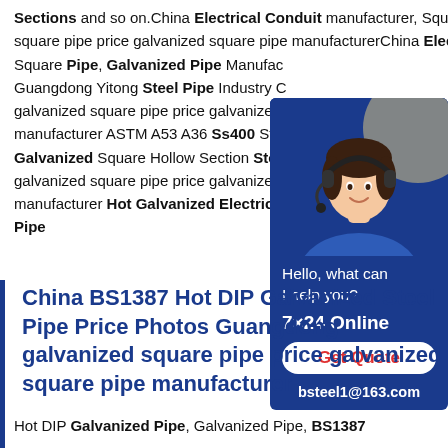Sections and so on.China Electrical Conduit manufacturer, Square Pipe Guangdong galvanized square pipe price galvanized square pipe manufacturerChina Electrical Square Pipe, Galvanized Pipe Manufacturer Guangdong Yitong Steel Pipe Industry Co galvanized square pipe price galvanized manufacturer ASTM A53 A36 Ss400 St3 Galvanized Square Hollow Section Steel galvanized square pipe price galvanized manufacturer Hot Galvanized Electrical Pipe
[Figure (photo): Customer service representative with headset, chat widget with blue background, showing 'Hello, what can I help you?', '7x24 Online', 'Get Quote' button, and email 'bsteel1@163.com']
China BS1387 Hot DIP Galvanized Steel Pipe Price Photos Guangdong galvanized square pipe price galvanized square pipe manufacturer
Hot DIP Galvanized Pipe, Galvanized Pipe, BS1387